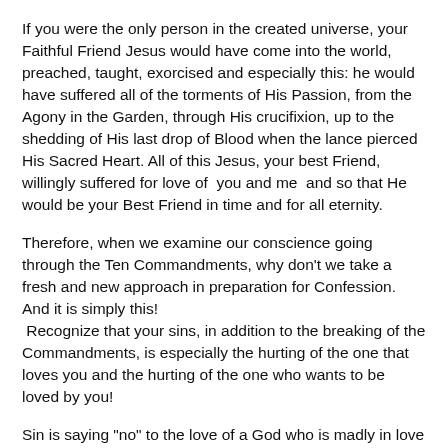If you were the only person in the created universe, your Faithful Friend Jesus would have come into the world, preached, taught, exorcised and especially this: he would have suffered all of the torments of His Passion, from the Agony in the Garden, through His crucifixion, up to the shedding of His last drop of Blood when the lance pierced His Sacred Heart. All of this Jesus, your best Friend, willingly suffered for love of  you and me  and so that He would be your Best Friend in time and for all eternity.
Therefore, when we examine our conscience going through the Ten Commandments, why don't we take a fresh and new approach in preparation for Confession. And it is simply this!  Recognize that your sins, in addition to the breaking of the Commandments, is especially the hurting of the one that loves you and the hurting of the one who wants to be loved by you!
Sin is saying "no" to the love of a God who is madly in love with you and has a burning desire for you to correspond to that love. Still more by sinning I am breaking the Heart of my